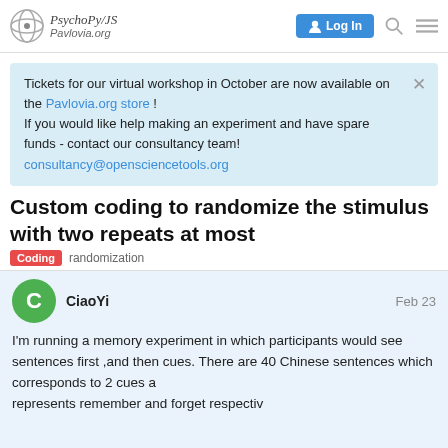PsychoPy/JS Pavlovia.org — Log In
Tickets for our virtual workshop in October are now available on the Pavlovia.org store ! If you would like help making an experiment and have spare funds - contact our consultancy team! consultancy@opensciencetools.org
Custom coding to randomize the stimulus with two repeats at most
Coding   randomization
CiaoYi   Feb 23
I'm running a memory experiment in which participants would see sentences first ,and then cues. There are 40 Chinese sentences which corresponds to 2 cues an represents remember and forget respectiv